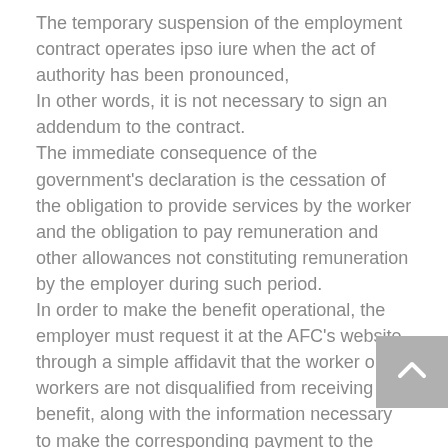The temporary suspension of the employment contract operates ipso iure when the act of authority has been pronounced,
In other words, it is not necessary to sign an addendum to the contract.
The immediate consequence of the government's declaration is the cessation of the obligation to provide services by the worker and the obligation to pay remuneration and other allowances not constituting remuneration by the employer during such period.
In order to make the benefit operational, the employer must request it at the AFC's website, through a simple affidavit that the worker or workers are not disqualified from receiving this benefit, along with the information necessary to make the corresponding payment to the worker.
The employer will be liable for the veracity of the declarations in the document.
However, the worker for whom the benefit has not been